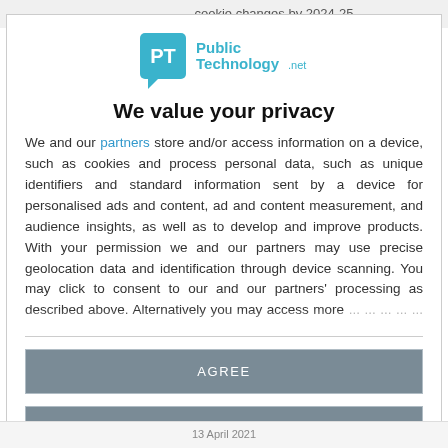[Figure (logo): PublicTechnology.net logo — teal speech-bubble icon with 'PT' initials and 'Public Technology .net' text in teal and dark gray]
We value your privacy
We and our partners store and/or access information on a device, such as cookies and process personal data, such as unique identifiers and standard information sent by a device for personalised ads and content, ad and content measurement, and audience insights, as well as to develop and improve products. With your permission we and our partners may use precise geolocation data and identification through device scanning. You may click to consent to our and our partners' processing as described above. Alternatively you may access more ...
AGREE
MORE OPTIONS